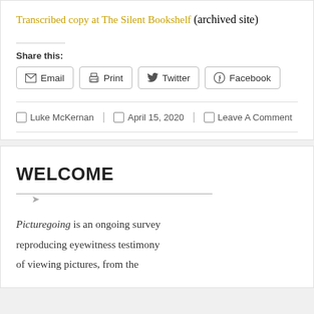Transcribed copy at The Silent Bookshelf (archived site)
Share this:
Email | Print | Twitter | Facebook
Luke McKernan | April 15, 2020 | Leave A Comment
WELCOME
Picturegoing is an ongoing survey reproducing eyewitness testimony of viewing pictures, from the